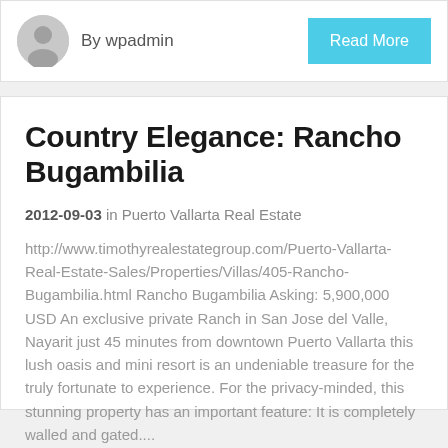[Figure (illustration): Circular grey avatar/profile placeholder icon]
By wpadmin
Read More
Country Elegance: Rancho Bugambilia
2012-09-03 in Puerto Vallarta Real Estate
http://www.timothyrealestategroup.com/Puerto-Vallarta-Real-Estate-Sales/Properties/Villas/405-Rancho-Bugambilia.html Rancho Bugambilia Asking: 5,900,000 USD An exclusive private Ranch in San Jose del Valle, Nayarit just 45 minutes from downtown Puerto Vallarta this lush oasis and mini resort is an undeniable treasure for the truly fortunate to experience. For the privacy-minded, this stunning property has an important feature: It is completely walled and gated....